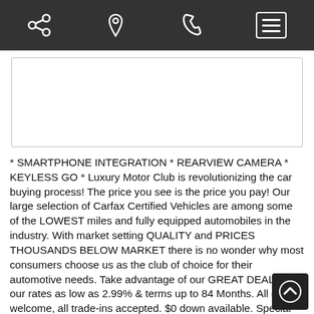[navigation bar with share, location, phone, and menu icons]
[Figure (photo): White rectangular image placeholder area with a light border]
* SMARTPHONE INTEGRATION * REARVIEW CAMERA * KEYLESS GO * Luxury Motor Club is revolutionizing the car buying process! The price you see is the price you pay! Our large selection of Carfax Certified Vehicles are among some of the LOWEST miles and fully equipped automobiles in the industry. With market setting QUALITY and PRICES THOUSANDS BELOW MARKET there is no wonder why most consumers choose us as the club of choice for their automotive needs. Take advantage of our GREAT DEALS with our rates as low as 2.99% & terms up to 84 Months. All credits welcome, all trade-ins accepted. $0 down available. Special incentives available to all our affiliates USAA, Geico, Penfed, MCU, American Express, Famers Insurance, Allstate, Statefarm and many other Credit Un